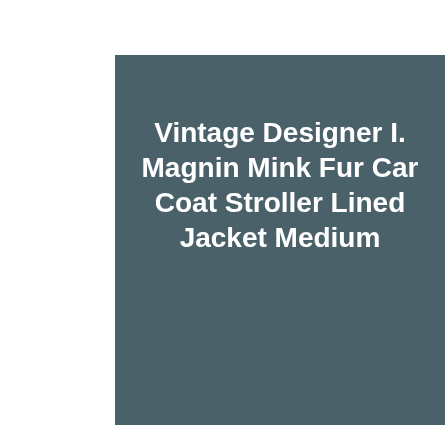Vintage Designer I. Magnin Mink Fur Car Coat Stroller Lined Jacket Medium